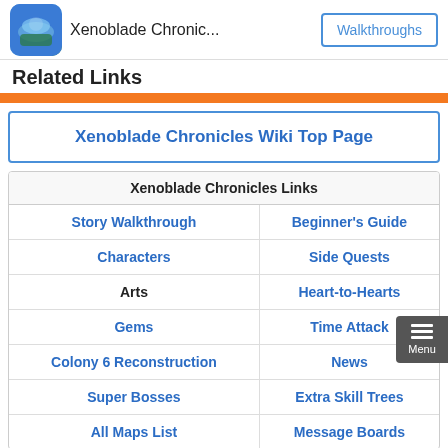Xenoblade Chronic... | Walkthroughs
Related Links
Xenoblade Chronicles Wiki Top Page
| Xenoblade Chronicles Links |
| --- |
| Story Walkthrough | Beginner's Guide |
| Characters | Side Quests |
| Arts | Heart-to-Hearts |
| Gems | Time Attack |
| Colony 6 Reconstruction | News |
| Super Bosses | Extra Skill Trees |
| All Maps List | Message Boards |